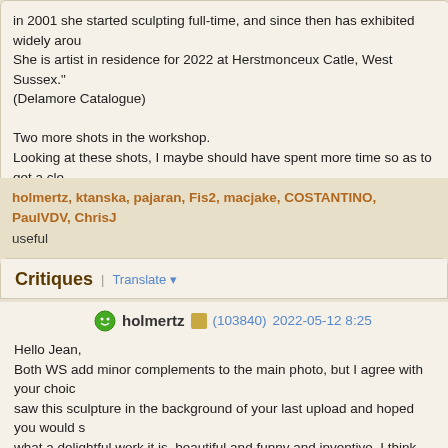in 2001 she started sculpting full-time, and since then has exhibited widely aro... She is artist in residence for 2022 at Herstmonceux Catle, West Sussex." (Delamore Catalogue)

Two more shots in the workshop.
Looking at these shots, I maybe should have spent more time so as to get a cle... difficult with the surroundings of the trees etc.,

Thank you for looking.
holmertz, ktanska, pajaran, Fis2, macjake, COSTANTINO, PaulVDV, ChrisJ useful
Critiques | Translate
holmertz (103840) 2022-05-12 8:25

Hello Jean,
Both WS add minor complements to the main photo, but I agree with your choic... saw this sculpture in the background of your last upload and hoped you would s... what a delightful work it is, beautiful and funny and inventive. I think this angle g... this post very much.
Best regards,
Gert